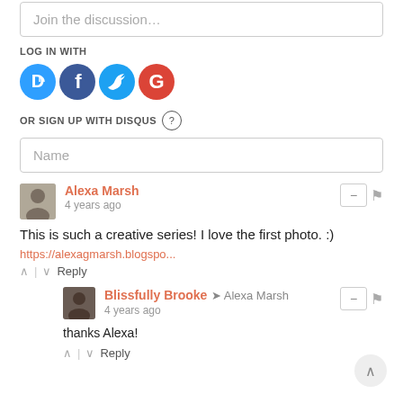Join the discussion…
LOG IN WITH
[Figure (logo): Social login icons: Disqus (blue), Facebook (dark blue), Twitter (light blue), Google (red)]
OR SIGN UP WITH DISQUS ?
Name
Alexa Marsh
4 years ago
This is such a creative series! I love the first photo. :)
https://alexagmarsh.blogspo...
↑ | ↓  Reply
Blissfully Brooke → Alexa Marsh
4 years ago
thanks Alexa!
↑ | ↓  Reply